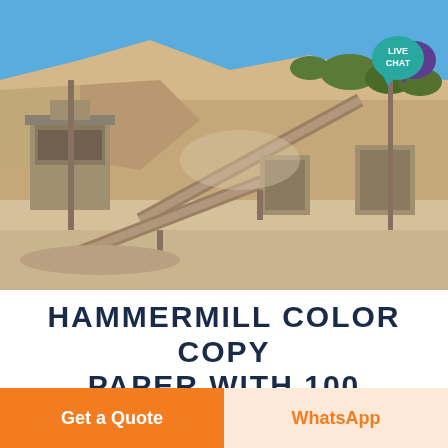[Figure (photo): Outdoor quarry/crushing plant facility with conveyor belts, machinery, rocky hillside in background, blue sky. A teal 'LIVE CHAT' speech bubble icon is overlaid on the top-right corner of the photo.]
HAMMERMILL COLOR COPY PAPER WITH 100 BRIGHTNESS
Get a Quote
WhatsApp